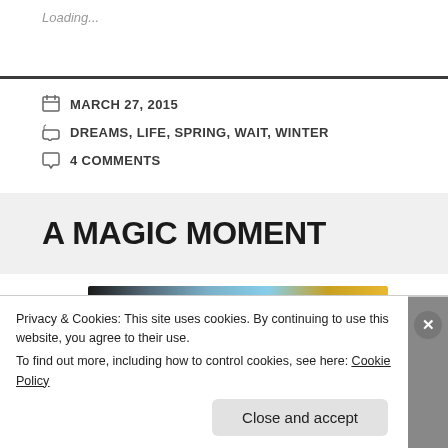Loading...
MARCH 27, 2015
DREAMS, LIFE, SPRING, WAIT, WINTER
4 COMMENTS
A MAGIC MOMENT
[Figure (photo): Partial view of a photo showing palm fronds and sky]
Privacy & Cookies: This site uses cookies. By continuing to use this website, you agree to their use.
To find out more, including how to control cookies, see here: Cookie Policy
Close and accept